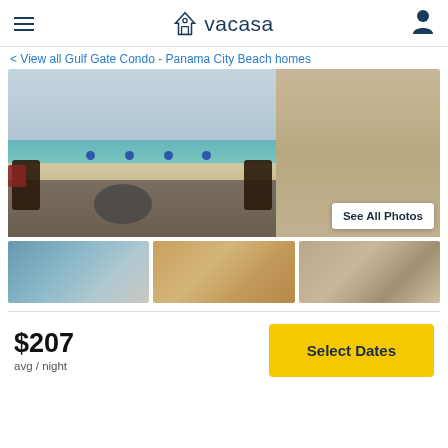vacasa
< View all Gulf Gate Condo - Panama City Beach homes
[Figure (photo): Balcony view of Panama City Beach showing ocean, beach umbrellas, wicker chairs, and a table. Overlaid button reads 'See All Photos'.]
[Figure (photo): Pool area with lounge chairs and building in background]
[Figure (photo): Interior living room with furniture and lamps]
[Figure (photo): Interior room with TV and ocean view through sliding glass door]
$207
avg / night
Select Dates